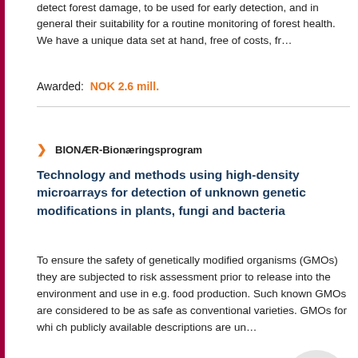detect forest damage, to be used for early detection, and in general their suitability for a routine monitoring of forest health. We have a unique data set at hand, free of costs, fr…
Awarded:  NOK 2.6 mill.
BIONÆR-Bionæringsprogram
Technology and methods using high-density microarrays for detection of unknown genetic modifications in plants, fungi and bacteria
To ensure the safety of genetically modified organisms (GMOs) they are subjected to risk assessment prior to release into the environment and use in e.g. food production. Such known GMOs are considered to be as safe as conventional varieties. GMOs for whi ch publicly available descriptions are un…
Awarded:  NOK 3.1 mill.